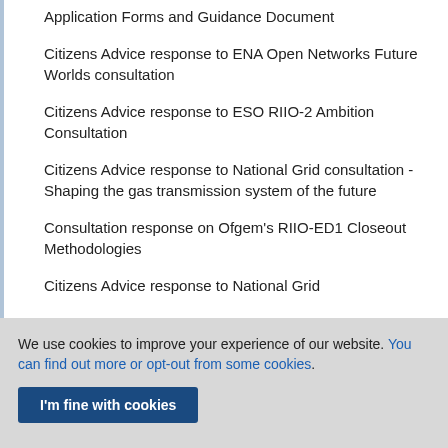Application Forms and Guidance Document
Citizens Advice response to ENA Open Networks Future Worlds consultation
Citizens Advice response to ESO RIIO-2 Ambition Consultation
Citizens Advice response to National Grid consultation - Shaping the gas transmission system of the future
Consultation response on Ofgem's RIIO-ED1 Closeout Methodologies
Citizens Advice response to National Grid
We use cookies to improve your experience of our website. You can find out more or opt-out from some cookies.
I'm fine with cookies